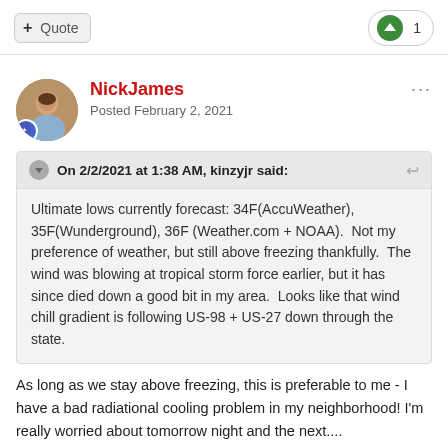+ Quote
↑ 1
NickJames
Posted February 2, 2021
On 2/2/2021 at 1:38 AM, kinzyjr said:
Ultimate lows currently forecast: 34F(AccuWeather), 35F(Wunderground), 36F (Weather.com + NOAA).  Not my preference of weather, but still above freezing thankfully.  The wind was blowing at tropical storm force earlier, but it has since died down a good bit in my area.  Looks like that wind chill gradient is following US-98 + US-27 down through the state.
As long as we stay above freezing, this is preferable to me - I have a bad radiational cooling problem in my neighborhood! I'm really worried about tomorrow night and the next....